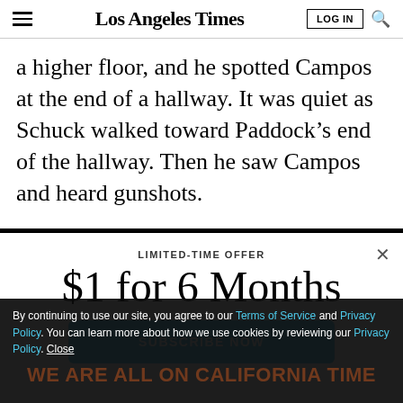Los Angeles Times
a higher floor, and he spotted Campos at the end of a hallway. It was quiet as Schuck walked toward Paddock’s end of the hallway. Then he saw Campos and heard gunshots.
LIMITED-TIME OFFER
$1 for 6 Months
SUBSCRIBE NOW
By continuing to use our site, you agree to our Terms of Service and Privacy Policy. You can learn more about how we use cookies by reviewing our Privacy Policy. Close